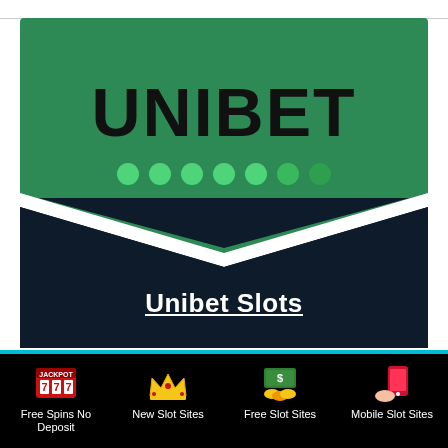[Figure (logo): Unibet logo on green background with dark navy chevron section below. Shows 'UNIBET' in large black bold letters, green dots row beneath the text, and a white downward chevron shape at the bottom of the green/dark section.]
Unibet Slots
[Figure (infographic): Bottom navigation bar with four items on black background: 'Free Spins No Deposit' with slot machine jackpot 777 icon, 'New Slot Sites' with crown icon, 'Free Slot Sites' with money bills and coins icon, 'Mobile Slot Sites' with mobile phone icon.]